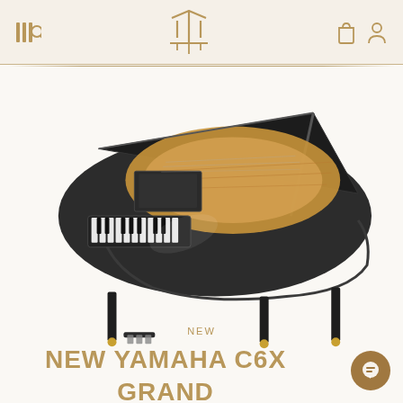Navigation bar with menu, search, Yamaha logo, bag and user icons
[Figure (photo): Black Yamaha C6X grand piano with open lid, viewed from the side-front angle, showing the wooden interior soundboard, on a white/cream background]
NEW
NEW YAMAHA C6X GRAND PIANO